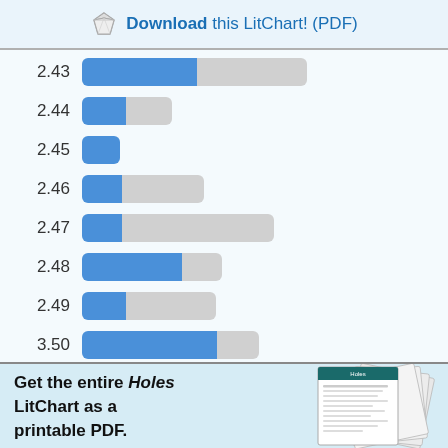Download this LitChart! (PDF)
[Figure (bar-chart): LitCharts bar chart]
Get the entire Holes LitChart as a printable PDF.